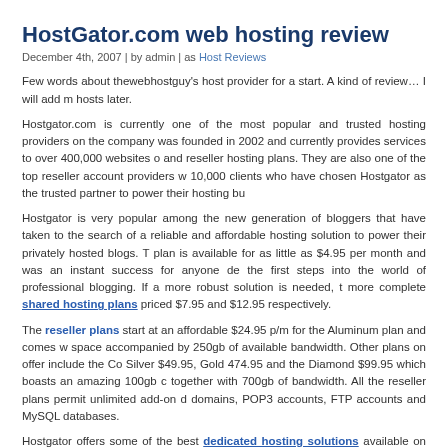HostGator.com web hosting review
December 4th, 2007 | by admin | as Host Reviews
Few words about thewebhostguy's host provider for a start. A kind of review… I will add more hosts later.
Hostgator.com is currently one of the most popular and trusted hosting providers on the company was founded in 2002 and currently provides services to over 400,000 websites and reseller hosting plans. They are also one of the top reseller account providers w 10,000 clients who have chosen Hostgator as the trusted partner to power their hosting bu
Hostgator is very popular among the new generation of bloggers that have taken to the search of a reliable and affordable hosting solution to power their privately hosted blogs. T plan is available for as little as $4.95 per month and was an instant success for anyone de the first steps into the world of professional blogging. If a more robust solution is needed, t more complete shared hosting plans priced $7.95 and $12.95 respectively.
The reseller plans start at an affordable $24.95 p/m for the Aluminum plan and comes w space accompanied by 250gb of available bandwidth. Other plans on offer include the Co Silver $49.95, Gold 474.95 and the Diamond $99.95 which boasts an amazing 100gb c together with 700gb of bandwidth. All the reseller plans permit unlimited add-on d domains, POP3 accounts, FTP accounts and MySQL databases.
Hostgator offers some of the best dedicated hosting solutions available on the intern include server management software and an intuitive control panel completely free Customers opting for Linux can also choose from a list of Operating System which inclu Linux 9.0, RHEL3, RHEL4, CentOS, or FreeBSD. The basic plan starts at $174.00, foll Standard $219.00, Elite $279.00 and Pro $374.00.
The latest partially visible line at bottom.